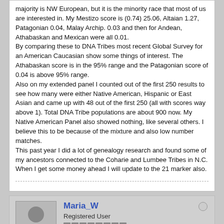majority is NW European, but it is the minority race that most of us are interested in. My Mestizo score is (0.74) 25.06, Altaian 1.27, Patagonian 0.04, Malay Archip. 0.03 and then for Andean, Athabaskan and Mexican were all 0.01.
By comparing these to DNA Tribes most recent Global Survey for an American Caucasian show some things of interest. The Athabaskan score is in the 95% range and the Patagonian score of 0.04 is above 95% range.
Also on my extended panel I counted out of the first 250 results to see how many were either Native American, Hispanic or East Asian and came up with 48 out of the first 250 (all with scores way above 1). Total DNA Tribe populations are about 900 now. My Native American Panel also showed nothing, like several others. I believe this to be because of the mixture and also low number matches.
This past year I did a lot of genealogy research and found some of my ancestors connected to the Coharie and Lumbee Tribes in N.C.
When I get some money ahead I will update to the 21 marker also.
Maria_W
Registered User
Join Date: Jul 2006    Posts: 1230
12 November 2008, 08:28 AM
#4
Hi Tom...